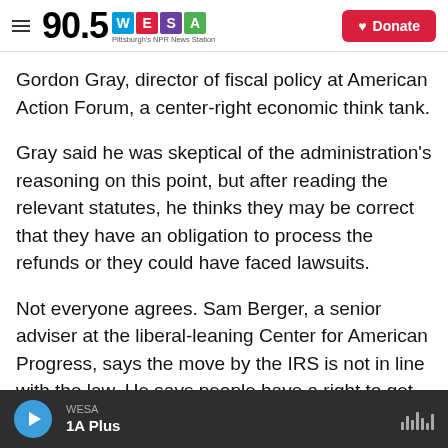90.5 WESA — Pittsburgh's NPR News Station | Donate
Gordon Gray, director of fiscal policy at American Action Forum, a center-right economic think tank.
Gray said he was skeptical of the administration's reasoning on this point, but after reading the relevant statutes, he thinks they may be correct that they have an obligation to process the refunds or they could have faced lawsuits.
Not everyone agrees. Sam Berger, a senior adviser at the liberal-leaning Center for American Progress, says the move by the IRS is not in line with the law. He says people have a right to get their tax refunds,
WESA — 1A Plus